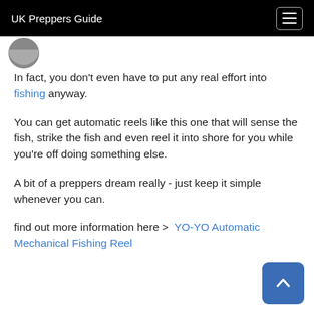UK Preppers Guide
[Figure (photo): Partial avatar/profile circle image cropped at top of page]
In fact, you don't even have to put any real effort into fishing anyway.
You can get automatic reels like this one that will sense the fish, strike the fish and even reel it into shore for you while you're off doing something else.
A bit of a preppers dream really - just keep it simple whenever you can.
find out more information here >  YO-YO Automatic Mechanical Fishing Reel